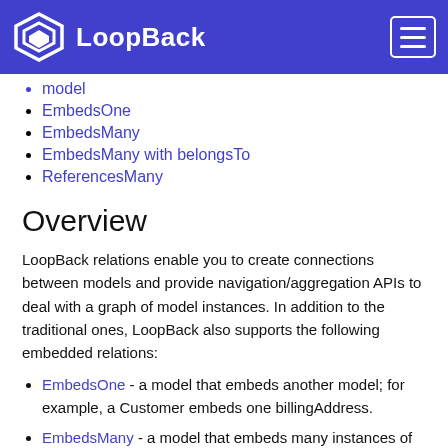LoopBack
model
EmbedsOne
EmbedsMany
EmbedsMany with belongsTo
ReferencesMany
Overview
LoopBack relations enable you to create connections between models and provide navigation/aggregation APIs to deal with a graph of model instances. In addition to the traditional ones, LoopBack also supports the following embedded relations:
EmbedsOne - a model that embeds another model; for example, a Customer embeds one billingAddress.
EmbedsMany - a model that embeds many instances of another model. For example, a Customer can have multiple email addresses and each email address is a